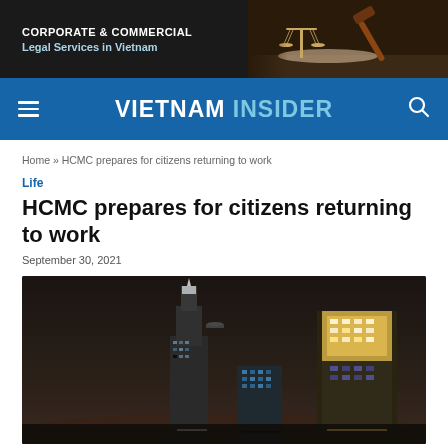[Figure (photo): Advertisement banner for Corporate & Commercial Legal Services in Vietnam, dark background with scales of justice and gavel image on the right]
VIETNAM INSIDER
Home » HCMC prepares for citizens returning to work
Life
HCMC prepares for citizens returning to work
September 30, 2021
[Figure (photo): Nighttime cityscape of Ho Chi Minh City showing illuminated skyscrapers including Bitexco Financial Tower against a dark sky]